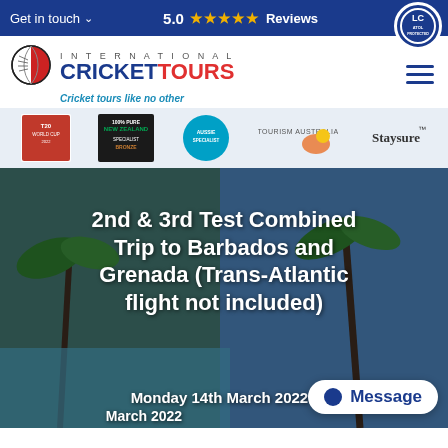Get in touch  5.0 ★★★★★ Reviews
[Figure (logo): ATOL Protected circular badge, blue and white]
[Figure (logo): International Cricket Tours logo with cricket ball icon]
Cricket tours like no other
[Figure (logo): Partner logos bar: T20 World Cup 2022, 100% Pure New Zealand Specialist Bronze, Aussie Specialist, Tourism Australia, Staysure]
[Figure (photo): Tropical resort background photo with palm trees and pool]
2nd & 3rd Test Combined Trip to Barbados and Grenada (Trans-Atlantic flight not included)
Monday 14th March 2022
March 2022